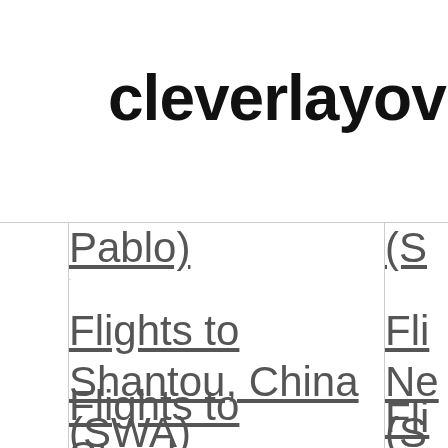cleverlayover
Pablo) (S
Flights to Shantou, China (SWA) Fli Ne (S
Flights to Strasbourg, Fli C